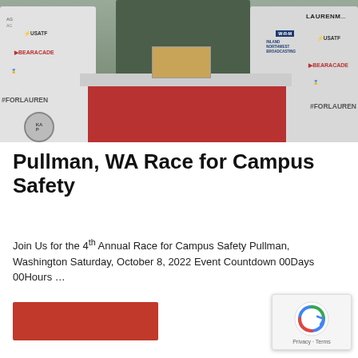[Figure (photo): Outdoor race event registration table with people wearing white hoodies bearing sponsors including USATF, BEARACADE, #FORLAUREN, W+R+M, Inland Northwest Broadcasting. A red-draped table is in the center with a cashbox on top.]
Pullman, WA Race for Campus Safety
Join Us for the 4th Annual Race for Campus Safety Pullman, Washington Saturday, October 8, 2022 Event Countdown 00Days 00Hours ...